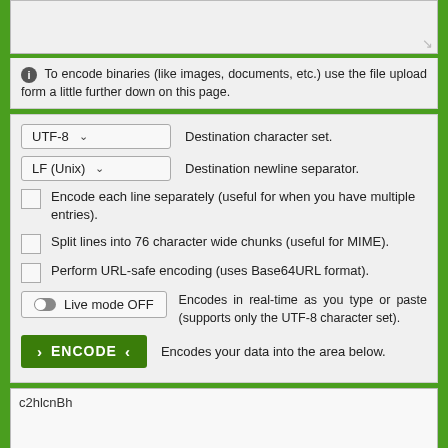[Figure (screenshot): Top portion of a web form textarea (partially visible, with resize handle at bottom right)]
To encode binaries (like images, documents, etc.) use the file upload form a little further down on this page.
UTF-8  Destination character set.
LF (Unix)  Destination newline separator.
Encode each line separately (useful for when you have multiple entries).
Split lines into 76 character wide chunks (useful for MIME).
Perform URL-safe encoding (uses Base64URL format).
Live mode OFF  Encodes in real-time as you type or paste (supports only the UTF-8 character set).
> ENCODE <  Encodes your data into the area below.
c2hlcnBh